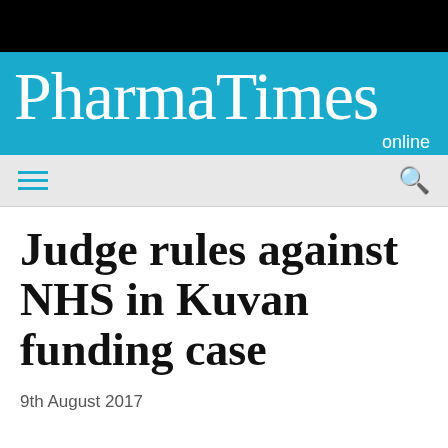PharmaTimes online
Judge rules against NHS in Kuvan funding case
9th August 2017